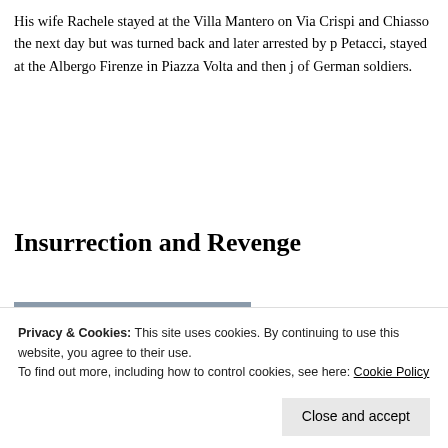His wife Rachele stayed at the Villa Mantero on Via Crispi and Chiasso the next day but was turned back and later arrested by p Petacci, stayed at the Albergo Firenze in Piazza Volta and then j of German soldiers.
Insurrection and Revenge
[Figure (photo): Exterior of a multi-story Italian building with arched balconies and windows, cream-colored facade]
But Com from fasc such as P seeking t started to favourab en a
Privacy & Cookies: This site uses cookies. By continuing to use this website, you agree to their use. To find out more, including how to control cookies, see here: Cookie Policy
Close and accept